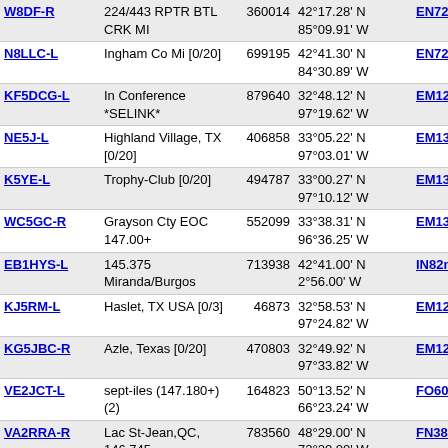| Callsign | Location | Node ID | Coordinates | Grid | Dist |
| --- | --- | --- | --- | --- | --- |
| W8DF-R | 224/443 RPTR BTL CRK MI | 360014 | 42°17.28' N 85°09.91' W | EN72kg | 5197.8 |
| N8LLC-L | Ingham Co Mi [0/20] | 699195 | 42°41.30' N 84°30.89' W | EN72rq | 5198.6 |
| KF5DCG-L | In Conference *SELINK* | 879640 | 32°48.12' N 97°19.62' W | EM12it | 5201.8 |
| NE5J-L | Highland Village, TX [0/20] | 406858 | 33°05.22' N 97°03.01' W | EM13lc | 5202.1 |
| K5YE-L | Trophy-Club [0/20] | 494787 | 33°00.27' N 97°10.12' W | EM13ja | 5203.7 |
| WC5GC-R | Grayson Cty EOC 147.00+ | 552099 | 33°38.31' N 96°36.25' W | EM13qp | 5207.2 |
| EB1HYS-L | 145.375 Miranda/Burgos | 713938 | 42°41.00' N 2°56.00' W | IN82mq | 5207.9 |
| KJ5RM-L | Haslet, TX USA [0/3] | 46873 | 32°58.53' N 97°24.82' W | EM12hx | 5213.3 |
| KG5JBC-R | Azle, Texas [0/20] | 470803 | 32°49.92' N 97°33.82' W | EM12ft | 5213.7 |
| VE2JCT-L | sept-iles (147.180+) (2) | 164823 | 50°13.52' N 66°23.24' W | FO60tf | 5214.6 |
| VA2RRA-R | Lac St-Jean,QC, 146.745 | 783560 | 48°29.00' N 72°20.00' W | FN38ul | 5214.9 |
| W5XH-R | Fayetteville, AR | 901954 | 36°03.57' N 94°11.15' W | EM26vb | 5215.7 |
| K8VEB-L | Eagle/Portland MI [0/20] | 39275 | 42°49.08' N 84°50.16' W | EN72nt | 5215.8 |
| XE2LRS-L | Durango Mexico | 137065 | 24°33.56' N | DL74gn | 5218.5 |